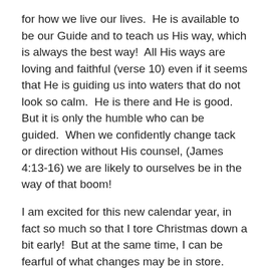for how we live our lives.  He is available to be our Guide and to teach us His way, which is always the best way!  All His ways are loving and faithful (verse 10) even if it seems that He is guiding us into waters that do not look so calm.  He is there and He is good.  But it is only the humble who can be guided.  When we confidently change tack or direction without His counsel, (James 4:13-16) we are likely to ourselves be in the way of that boom!
I am excited for this new calendar year, in fact so much so that I tore Christmas down a bit early!  But at the same time, I can be fearful of what changes may be in store.  There will be changes.  There always are.  He may change some of my directions.  But if I am humbly seeking Him and His guidance, I do not have to be surprised by that boom!  And I am reassured by who He is.  All His